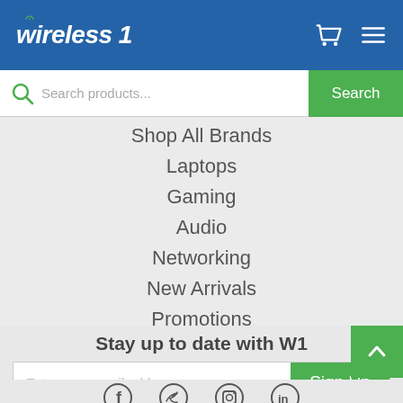wireless 1
[Figure (screenshot): Search bar with green search button]
Shop All Brands
Laptops
Gaming
Audio
Networking
New Arrivals
Promotions
Stay up to date with W1
Enter your email address
Sign Up
[Figure (illustration): Social media icons: Facebook, Twitter, Instagram, LinkedIn]